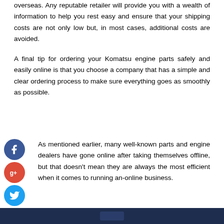overseas. Any reputable retailer will provide you with a wealth of information to help you rest easy and ensure that your shipping costs are not only low but, in most cases, additional costs are avoided.
A final tip for ordering your Komatsu engine parts safely and easily online is that you choose a company that has a simple and clear ordering process to make sure everything goes as smoothly as possible.
[Figure (infographic): Social media sharing icons: Facebook (blue circle with f), Google+ (red circle with g+), Twitter (light blue circle with bird), and a black plus circle for more options.]
As mentioned earlier, many well-known parts and engine dealers have gone online after taking themselves offline, but that doesn't mean they are always the most efficient when it comes to running an-online business.